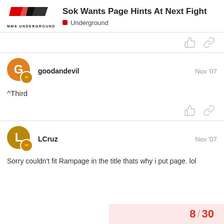Sok Wants Page Hints At Next Fight | Underground
^Third
goodandevil Nov '07
Sorry couldn't fit Rampage in the title thats why i put page. lol
LCruz Nov '07
8 / 30